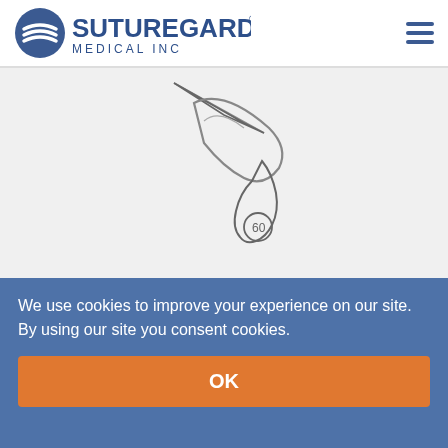SUTUREGARD MEDICAL INC
[Figure (illustration): Medical illustration showing a HEMIGARD strip being applied/placed near a wound with a tool, line-art drawing on light grey background]
Adhere
Place each HEMIGARD® strip with holes facing toward the wound.
We use cookies to improve your experience on our site. By using our site you consent cookies.
OK